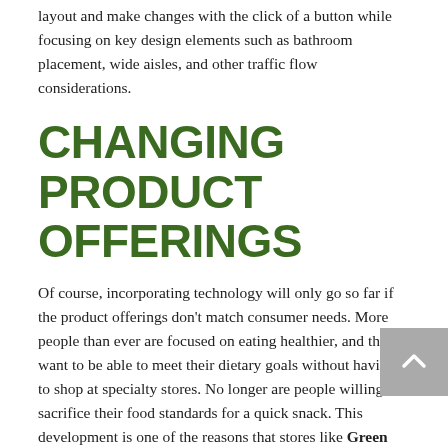layout and make changes with the click of a button while focusing on key design elements such as bathroom placement, wide aisles, and other traffic flow considerations.
CHANGING PRODUCT OFFERINGS
Of course, incorporating technology will only go so far if the product offerings don't match consumer needs. More people than ever are focused on eating healthier, and they want to be able to meet their dietary goals without having to shop at specialty stores. No longer are people willing to sacrifice their food standards for a quick snack. This development is one of the reasons that stores like Green Zebra are popping up and being met with success. Green Zebra is a Portland-based convenience chain that embraces the 20-minute neighborhood philosophy whereby residents can easily walk or bicycle to meet all basic daily, non-work needs. They partner with local organizations and